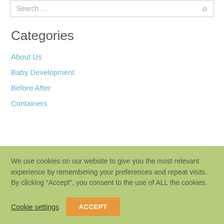Search ...
Categories
About Us
Baby Development
Before After
Containers
We use cookies on our website to give you the most relevant experience by remembering your preferences and repeat visits. By clicking “Accept”, you consent to the use of ALL the cookies.
Cookie settings
ACCEPT